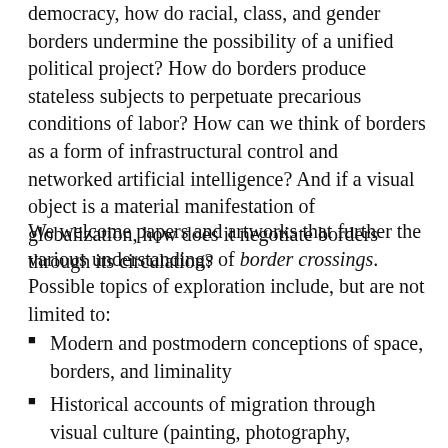democracy, how do racial, class, and gender borders undermine the possibility of a unified political project? How do borders produce stateless subjects to perpetuate precarious conditions of labor? How can we think of borders as a form of infrastructural control and networked artificial intelligence? And if a visual object is a material manifestation of globalization, how does it negotiate borders through its circulation?
We welcome papers and artworks that further the various understandings of border crossings. Possible topics of exploration include, but are not limited to:
Modern and postmodern conceptions of space, borders, and liminality
Historical accounts of migration through visual culture (painting, photography, performance, film, etc.)